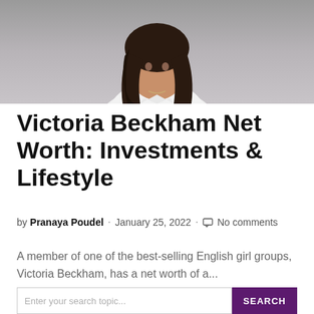[Figure (photo): Portrait photo of Victoria Beckham in a white shirt against a grey background, cropped to upper body and head]
Victoria Beckham Net Worth: Investments & Lifestyle
by Pranaya Poudel · January 25, 2022 · No comments
A member of one of the best-selling English girl groups, Victoria Beckham, has a net worth of a...